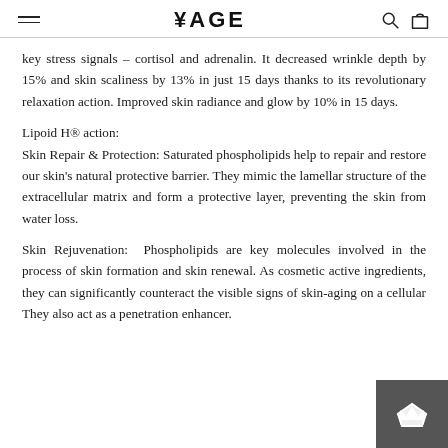YAGE
key stress signals – cortisol and adrenalin. It decreased wrinkle depth by 15% and skin scaliness by 13% in just 15 days thanks to its revolutionary relaxation action. Improved skin radiance and glow by 10% in 15 days.
Lipoid H® action:
Skin Repair & Protection: Saturated phospholipids help to repair and restore our skin's natural protective barrier. They mimic the lamellar structure of the extracellular matrix and form a protective layer, preventing the skin from water loss.
Skin Rejuvenation: Phospholipids are key molecules involved in the process of skin formation and skin renewal. As cosmetic active ingredients, they can significantly counteract the visible signs of skin-aging on a cellular They also act as a penetration enhancer.